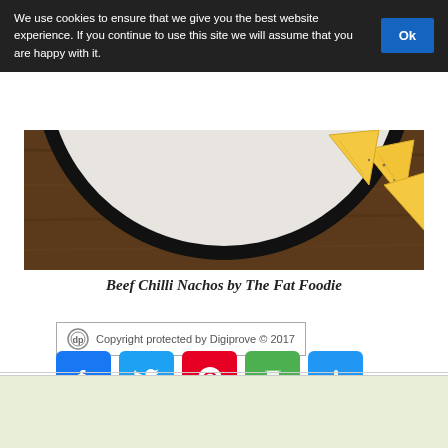We use cookies to ensure that we give you the best website experience. If you continue to use this site we will assume that you are happy with it. Ok
[Figure (photo): Partial view of a white plate with tortilla chips (nachos) on a dark wooden surface, seen from above, bottom portion of the circular plate visible]
Beef Chilli Nachos by The Fat Foodie
Copyright protected by Digiprove © 2017
[Figure (infographic): Social media share buttons: Facebook (blue), Twitter (light blue), Pinterest (red), Print (green), More/Plus (blue)]